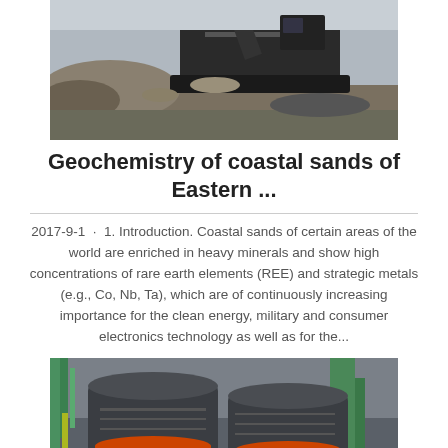[Figure (photo): Mining/crushing machinery in outdoor setting with rocky material and dark equipment]
Geochemistry of coastal sands of Eastern ...
2017-9-1 · 1. Introduction. Coastal sands of certain areas of the world are enriched in heavy minerals and show high concentrations of rare earth elements (REE) and strategic metals (e.g., Co, Nb, Ta), which are of continuously increasing importance for the clean energy, military and consumer electronics technology as well as for the...
[Figure (photo): Industrial cone crushers with orange bands/rings in a processing facility]